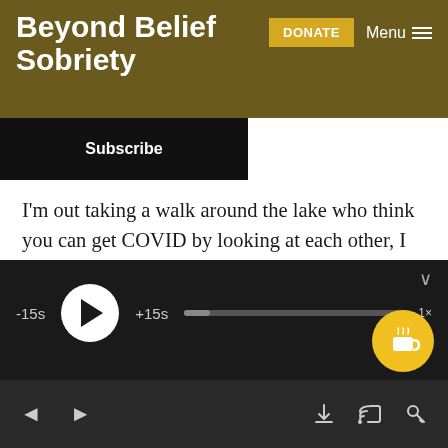Beyond Belief Sobriety
I'm out taking a walk around the lake who think you can get COVID by looking at each other, I believe.
[laughter]
44:13 Benn: They… No, people won't look up at all, yeah.
[Figure (screenshot): Podcast audio player bar with play button, -15s and +15s skip buttons, progress bar, and a coffee/donate floating button. Bottom navigation bar with previous/next track arrows, download, cast, and settings icons.]